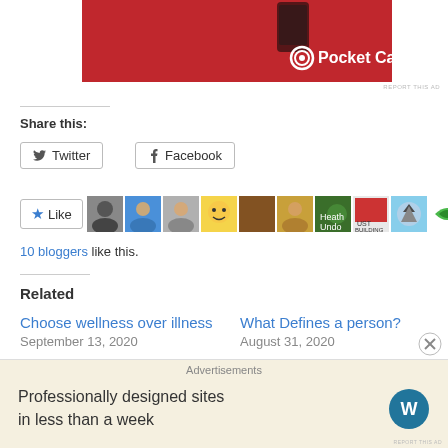[Figure (photo): Pocket Casts advertisement banner with red background, phone device, and Pocket Casts logo]
REPORT THIS AD
Share this:
Twitter  Facebook
Like  [avatar images]  10 bloggers like this.
Related
Choose wellness over illness
September 13, 2020
What Defines a person?
August 31, 2020
[Figure (screenshot): WordPress advertisement: Professionally designed sites in less than a week, with WordPress logo]
Advertisements
REPORT THIS AD